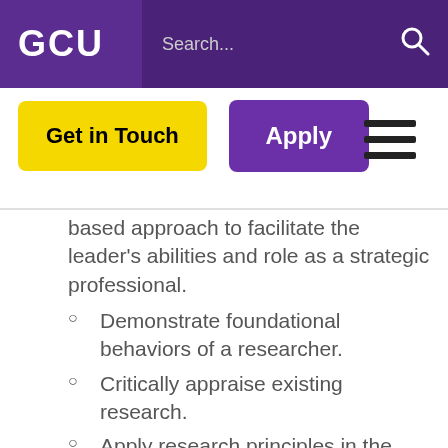GCU | Search...
based approach to facilitate the leader's abilities and role as a strategic professional.
Demonstrate foundational behaviors of a researcher.
Critically appraise existing research.
Apply research principles in the design of ethical original and independent research.
Design quantitative research.
Design qualitative research.
Apply data collection